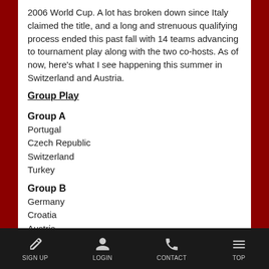2006 World Cup. A lot has broken down since Italy claimed the title, and a long and strenuous qualifying process ended this past fall with 14 teams advancing to tournament play along with the two co-hosts. As of now, here's what I see happening this summer in Switzerland and Austria.
Group Play
Group A
Portugal
Czech Republic
Switzerland
Turkey
Group B
Germany
Croatia
Austria
Poland
SIGN UP   LOGIN   CONTACT   TOP